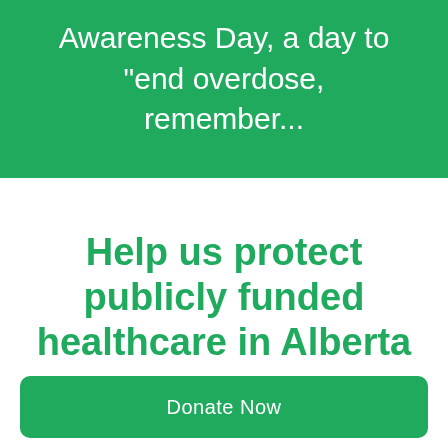Awareness Day, a day to “end overdose, remember…
Help us protect publicly funded healthcare in Alberta
Donate Now